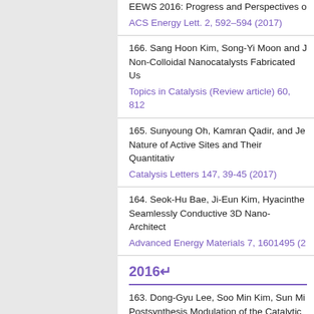EEWS 2016: Progress and Perspectives o
ACS Energy Lett. 2, 592–594 (2017)
166. Sang Hoon Kim, Song-Yi Moon and J Non-Colloidal Nanocatalysts Fabricated Us
Topics in Catalysis (Review article) 60, 812
165. Sunyoung Oh, Kamran Qadir, and Je Nature of Active Sites and Their Quantitativ
Catalysis Letters 147, 39-45 (2017)
164. Seok-Hu Bae, Ji-Eun Kim, Hyacinthe Seamlessly Conductive 3D Nano-Architect
Advanced Energy Materials 7, 1601495 (2
2016↵
163. Dong-Gyu Lee, Soo Min Kim, Sun Mi Postsynthesis Modulation of the Catalytic